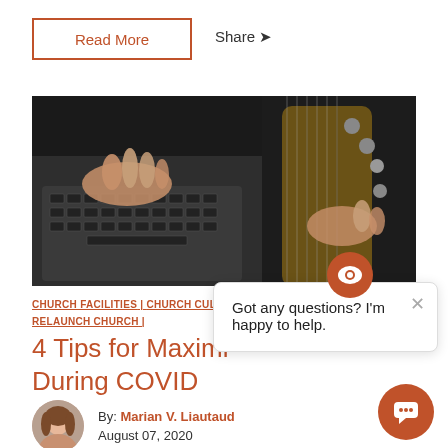Read More
Share
[Figure (photo): A person's hand on a laptop keyboard alongside an acoustic guitar on a dark wooden surface.]
CHURCH FACILITIES | CHURCH CULTURE | RELAUNCH CHURCH |
4 Tips for Maximizing During COVID
By: Marian V. Liautaud
August 07, 2020
[Figure (screenshot): Chat widget popup saying: Got any questions? I'm happy to help.]